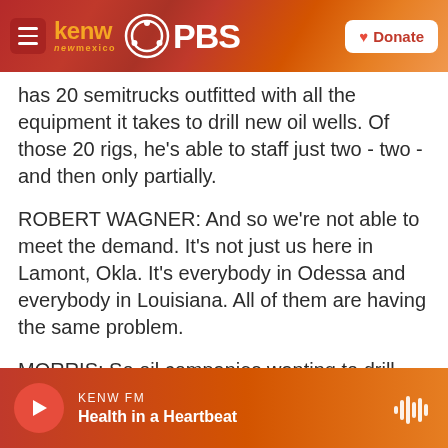KENW New Mexico PBS — Donate
has 20 semitrucks outfitted with all the equipment it takes to drill new oil wells. Of those 20 rigs, he's able to staff just two - two - and then only partially.
ROBERT WAGNER: And so we're not able to meet the demand. It's not just us here in Lamont, Okla. It's everybody in Odessa and everybody in Louisiana. All of them are having the same problem.
MORRIS: So oil companies wanting to drill new wells have to wait. And while regulation isn't much of a hurdle in this part of the country, financing can be. And Mickey Thompson says there's one other
KENW FM — Health in a Heartbeat